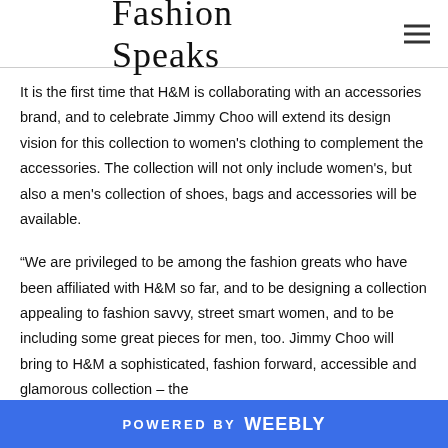Fashion Speaks
It is the first time that H&M is collaborating with an accessories brand, and to celebrate Jimmy Choo will extend its design vision for this collection to women's clothing to complement the accessories. The collection will not only include women's, but also a men's collection of shoes, bags and accessories will be available.
“We are privileged to be among the fashion greats who have been affiliated with H&M so far, and to be designing a collection appealing to fashion savvy, street smart women, and to be including some great pieces for men, too. Jimmy Choo will bring to H&M a sophisticated, fashion forward, accessible and glamorous collection – the
POWERED BY Weebly